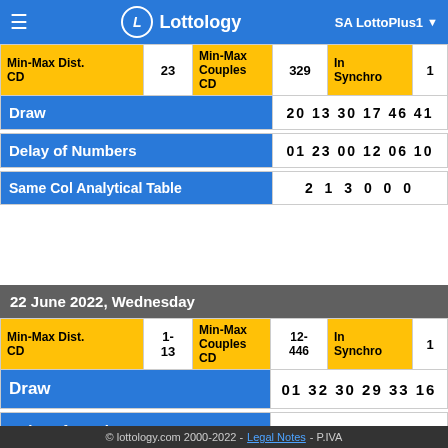Lottology — SA LottoPlus1
| Min-Max Dist. CD | 23 | Min-Max Couples CD | 329 | In Synchro | 1 |
| --- | --- | --- | --- | --- | --- |
| Draw |  |  |  | 20  13  30  17  46  41 |  |
| Delay of Numbers |  |  |  | 01  23  00  12  06  10 |  |
| Same Col Analytical Table |  |  |  | 2   1   3   0   0   0 |  |
22 June 2022, Wednesday
| Min-Max Dist. CD | 1-13 | Min-Max Couples CD | 12-446 | In Synchro | 1 |
| --- | --- | --- | --- | --- | --- |
| Draw |  |  |  | 01  32  30  29  33  16 |  |
| Delay of Numbers |  |  |  | 02  03  15  04  08  06 |  |
© lottology.com 2000-2022 - Legal Notes - P.IVA